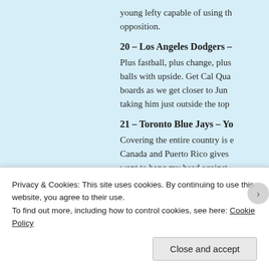young lefty capable of using the opposition.
20 – Los Angeles Dodgers –
Plus fastball, plus change, plus balls with upside. Get Cal Qua boards as we get closer to Jun taking him just outside the top
21 – Toronto Blue Jays – Yo
Covering the entire country is Canada and Puerto Rico gives want to bang my head against Yerzy and Austin Shields. Are t Roots me. But they are my fav
Privacy & Cookies: This site uses cookies. By continuing to use this website, you agree to their use.
To find out more, including how to control cookies, see here: Cookie Policy
Close and accept